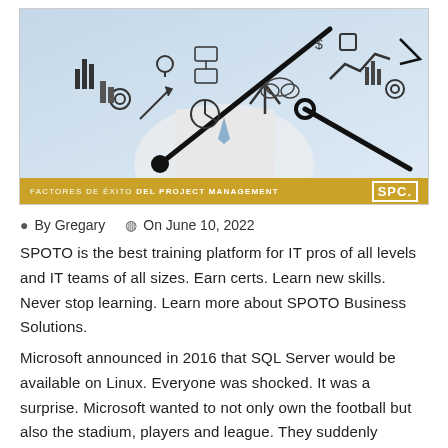[Figure (illustration): Hero image showing a person in a white shirt and blue tie drawing business/analytics icons in the air with large clock hands overlaid. Gold bar at bottom reads 'FACTORES DE ÉXITO DEL PROJECT MANAGEMENT' with SPC logo on the right.]
By Gregary   On June 10, 2022
SPOTO is the best training platform for IT pros of all levels and IT teams of all sizes. Earn certs. Learn new skills. Never stop learning. Learn more about SPOTO Business Solutions.
Microsoft announced in 2016 that SQL Server would be available on Linux. Everyone was shocked. It was a surprise. Microsoft wanted to not only own the football but also the stadium, players and league. They suddenly became kinder, more gentle, and more